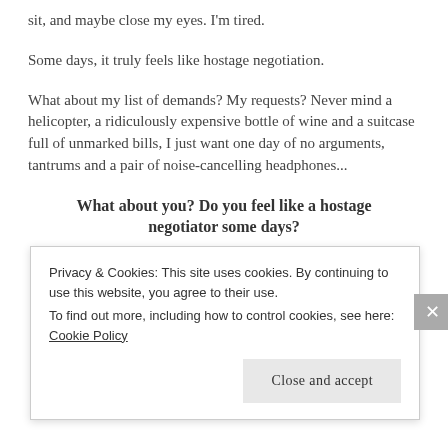sit, and maybe close my eyes. I'm tired.
Some days, it truly feels like hostage negotiation.
What about my list of demands? My requests? Never mind a helicopter, a ridiculously expensive bottle of wine and a suitcase full of unmarked bills, I just want one day of no arguments, tantrums and a pair of noise-cancelling headphones...
What about you? Do you feel like a hostage negotiator some days?
Privacy & Cookies: This site uses cookies. By continuing to use this website, you agree to their use.
To find out more, including how to control cookies, see here: Cookie Policy
Close and accept